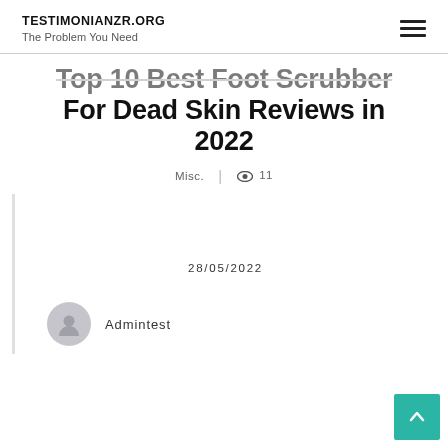TESTIMONIANZR.ORG
The Problem You Need
Top 10 Best Foot Scrubber For Dead Skin Reviews in 2022
Misc.  |  ● 11
28/05/2022
Admintest